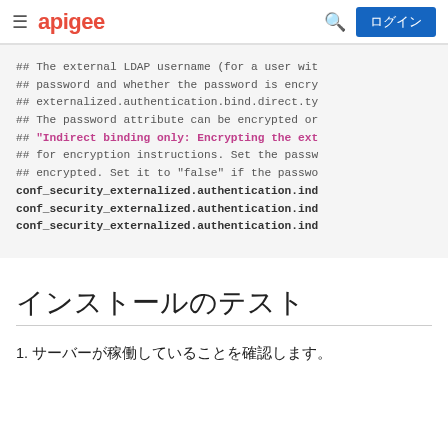apigee | ログイン
## The external LDAP username (for a user wit
## password and whether the password is encry
## externalized.authentication.bind.direct.ty
## The password attribute can be encrypted or
## "Indirect binding only: Encrypting the ext
## for encryption instructions. Set the passw
## encrypted. Set it to "false" if the passwo
conf_security_externalized.authentication.ind
conf_security_externalized.authentication.ind
conf_security_externalized.authentication.ind
インストールのテスト
1. サーバーが稼働していることを確認します。